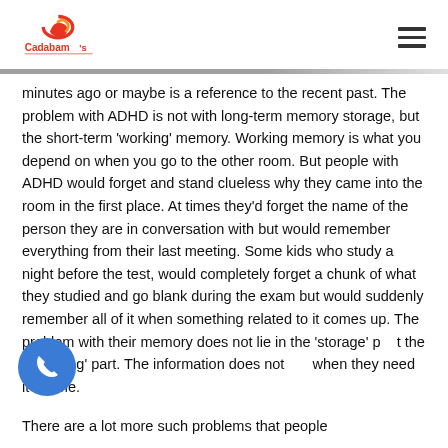Cadabam's
minutes ago or maybe is a reference to the recent past. The problem with ADHD is not with long-term memory storage, but the short-term 'working' memory. Working memory is what you depend on when you go to the other room. But people with ADHD would forget and stand clueless why they came into the room in the first place. At times they'd forget the name of the person they are in conversation with but would remember everything from their last meeting. Some kids who study a night before the test, would completely forget a chunk of what they studied and go blank during the exam but would suddenly remember all of it when something related to it comes up. The problem with their memory does not lie in the 'storage' p t the 'retrieving' part. The information does not when they need it in time.
There are a lot more such problems that people